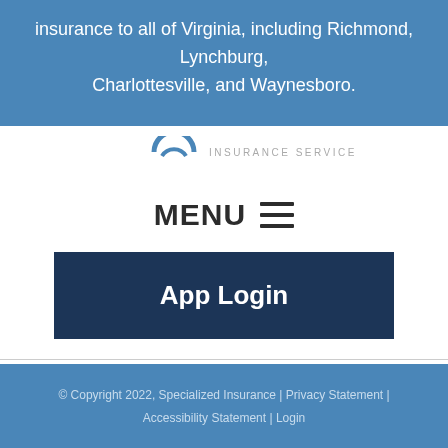insurance to all of Virginia, including Richmond, Lynchburg, Charlottesville, and Waynesboro.
[Figure (logo): Insurance Services logo with arc icon and text 'INSURANCE SERVICES']
MENU ☰
App Login
© Copyright 2022, Specialized Insurance | Privacy Statement | Accessibility Statement | Login